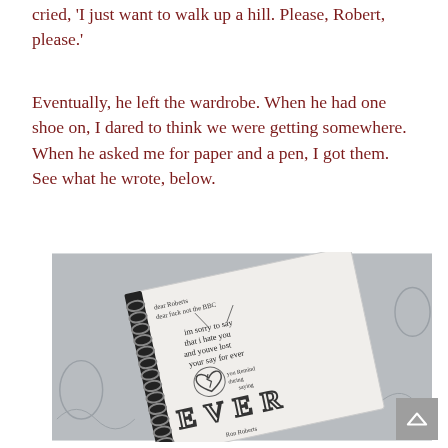cried, 'I just want to walk up a hill. Please, Robert, please.'
Eventually, he left the wardrobe. When he had one shoe on, I dared to think we were getting somewhere. When he asked me for paper and a pen, I got them. See what he wrote, below.
[Figure (photo): A spiral-bound notebook tilted at an angle on a grey decorative background. The notebook page contains handwritten text reading: 'dear Roberts / dear fuck not the BBC / im sorry to say / that i hate you / and youve lost / your say for ever' with a drawn broken heart symbol, and large letters 'EVER' at the bottom, along with the signature 'Ron Roberts'.]